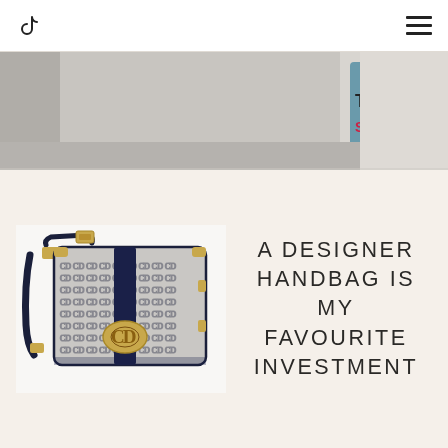TikTok navigation bar with TikTok logo and hamburger menu
[Figure (photo): Street fashion photo strip showing a person in a teal/denim outfit near a sign reading TEEN'S, partially cropped at the top of the page]
[Figure (photo): Dior 30 Montaigne bag in navy blue Oblique canvas with gold CD clasp and navy leather strap on white background]
A DESIGNER HANDBAG IS MY FAVOURITE INVESTMENT